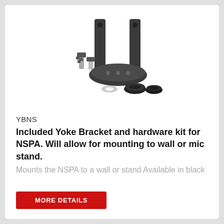[Figure (photo): Product photo of YBNS Yoke Bracket and hardware kit: a black U-shaped metal bracket with two upright arms and an oval base plate, alongside thumb screws, rubber grommets, and a washer.]
YBNS
Included Yoke Bracket and hardware kit for NSPA. Will allow for mounting to wall or mic stand. Mounts the NSPA to a wall or stand Available in black